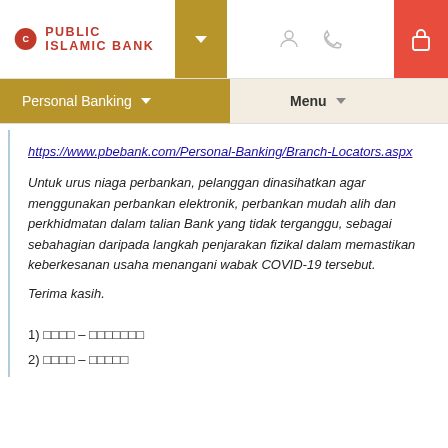[Figure (screenshot): Public Islamic Bank website header with logo, dropdown arrow, user/phone icons, and red lock icon]
[Figure (screenshot): Navigation bar with Personal Banking dropdown (gold) and Menu dropdown]
https://www.pbebank.com/Personal-Banking/Branch-Locators.aspx
Untuk urus niaga perbankan, pelanggan dinasihatkan agar menggunakan perbankan elektronik, perbankan mudah alih dan perkhidmatan dalam talian Bank yang tidak terganggu, sebagai sebahagian daripada langkah penjarakan fizikal dalam memastikan keberkesanan usaha menangani wabak COVID-19 tersebut.
Terima kasih.
1) □□□□ – □□□□□□□
2) □□□□ – □□□□□